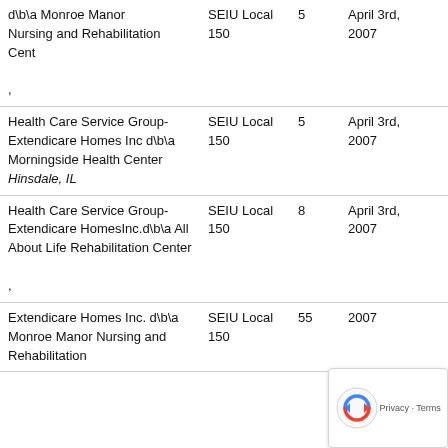| Employer | Union | Workers | Effective Date |
| --- | --- | --- | --- |
| d\b\a Monroe Manor Nursing and Rehabilitation Cent
, | SEIU Local 150 | 5 | April 3rd, 2007 |
| Health Care Service Group-Extendicare Homes Inc d\b\a Morningside Health Center
Hinsdale, IL | SEIU Local 150 | 5 | April 3rd, 2007 |
| Health Care Service Group-Extendicare HomesInc.d\b\a All About Life Rehabilitation Center
, | SEIU Local 150 | 8 | April 3rd, 2007 |
| Extendicare Homes Inc. d\b\a Monroe Manor Nursing and Rehabilitation | SEIU Local 150 | 55 | 2007 |